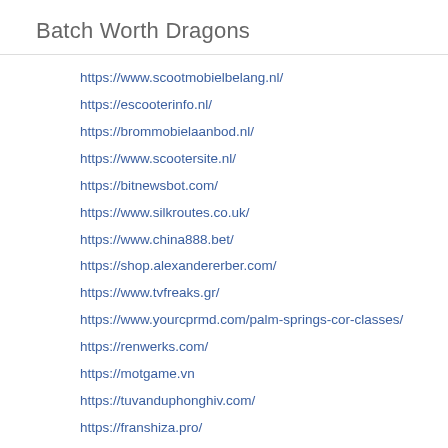Batch Worth Dragons
https://www.scootmobielbelang.nl/
https://escooterinfo.nl/
https://brommobielaanbod.nl/
https://www.scootersite.nl/
https://bitnewsbot.com/
https://www.silkroutes.co.uk/
https://www.china888.bet/
https://shop.alexandererber.com/
https://www.tvfreaks.gr/
https://www.yourcprmd.com/palm-springs-cor-classes/
https://renwerks.com/
https://motgame.vn
https://tuvanduphonghiv.com/
https://franshiza.pro/
https://newamericancasinos.com/
https://www.mut.ac.ke/
https://maar24ns.ca/halifax-appliance-repair/